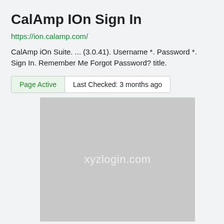CalAmp IOn Sign In
https://ion.calamp.com/
CalAmp iOn Suite. ... (3.0.41). Username *. Password *. Sign In. Remember Me Forgot Password? title.
Page Active	Last Checked: 3 months ago
[Figure (screenshot): Grey placeholder screenshot image with watermark text 'xyzlogin.com']